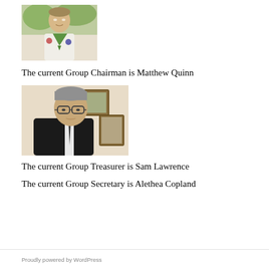[Figure (photo): Photo of a man in a scout uniform with green neckerchief, outdoors with trees in background]
The current Group Chairman is Matthew Quinn
[Figure (photo): Photo of a middle-aged man with glasses wearing a dark suit and tie, standing in front of framed pictures on a wall]
The current Group Treasurer is Sam Lawrence
The current Group Secretary is Alethea Copland
Proudly powered by WordPress